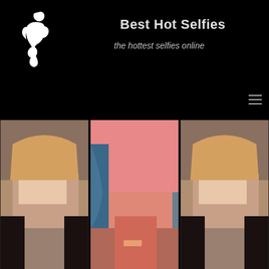[Figure (logo): White silhouette logo of a kneeling woman figure on black background]
Best Hot Selfies
the hottest selfies online
[Figure (photo): Three photos of women in a horizontal row on black background]
Ads by J
TRY IT BEFORE YOU JERK OFF VIEW PHOTOS
NO SIGN UP FREE JOIN NO BULLSHIT